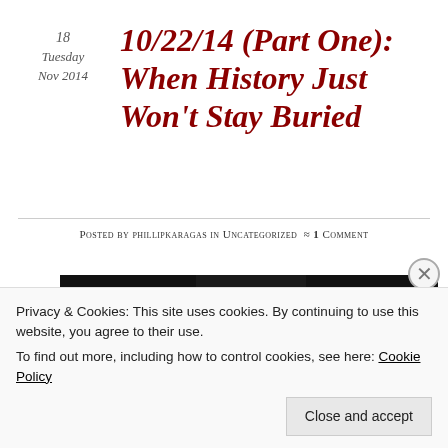18
Tuesday
Nov 2014
10/22/14 (Part One): When History Just Won't Stay Buried
Posted by phillipkaragas in Uncategorized ≈ 1 Comment
[Figure (photo): Dark movie promotional banner with quotes: "WHAT A GORY, DISTURBING FILM... WE LOVE IT." and "SMART, STYLISH SHOCKS" with silhouetted figures in center]
Tags
Privacy & Cookies: This site uses cookies. By continuing to use this website, you agree to their use.
To find out more, including how to control cookies, see here: Cookie Policy
Close and accept